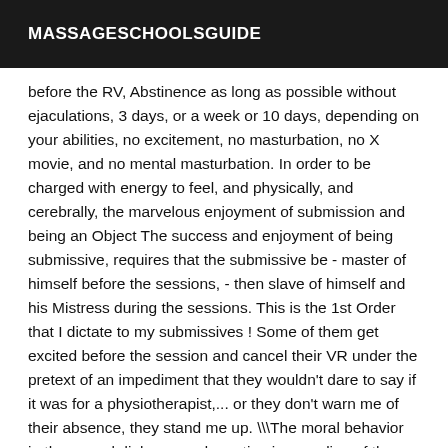MASSAGESCHOOLSGUIDE
before the RV, Abstinence as long as possible without ejaculations, 3 days, or a week or 10 days, depending on your abilities, no excitement, no masturbation, no X movie, and no mental masturbation. In order to be charged with energy to feel, and physically, and cerebrally, the marvelous enjoyment of submission and being an Object The success and enjoyment of being submissive, requires that the submissive be - master of himself before the sessions, - then slave of himself and his Mistress during the sessions. This is the 1st Order that I dictate to my submissives ! Some of them get excited before the session and cancel their VR under the pretext of an impediment that they wouldn't dare to say if it was for a physiotherapist,... or they don't warn me of their absence, they stand me up. \\The moral behavior in the sexual dialogue and meeting is revealing of the deep honesty of an individual" said a great psycho-oegiologist. Finally, I do a lot of work on the buttocks